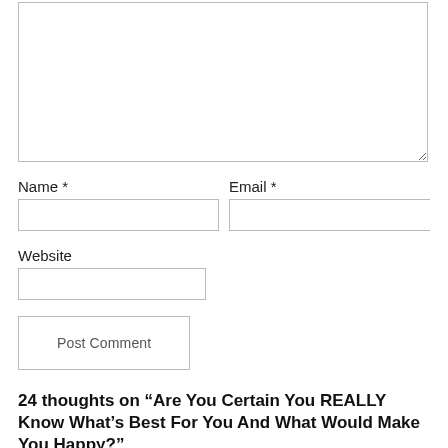[Figure (screenshot): A comment form textarea (large empty text input box) with dashed bottom-right resize handle.]
Name *
Email *
Website
Post Comment
24 thoughts on “Are You Certain You REALLY Know What’s Best For You And What Would Make You Happy?”